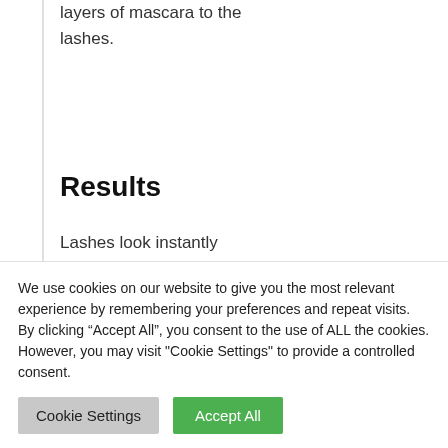layers of mascara to the lashes.
Results
Lashes look instantly amplified and defined and feel protected. Provides long-lasting wear whilst being easy to remove.
We use cookies on our website to give you the most relevant experience by remembering your preferences and repeat visits. By clicking “Accept All”, you consent to the use of ALL the cookies. However, you may visit "Cookie Settings" to provide a controlled consent.